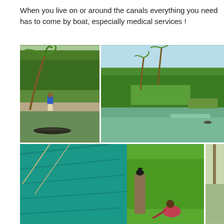When you live on or around the canals everything you need has to come by boat, especially medical services !
[Figure (photo): Man standing near a wooden boat on a canal with tropical palm trees and vegetation in the background]
[Figure (photo): Wide view of a calm canal surrounded by dense tropical trees and vegetation under a blue sky]
[Figure (photo): Close-up of a teal/green tarp with ropes, and a woman working near a post with a bird perched on it, lush green vegetation in background]
[Figure (photo): Partial view of a scene with green vegetation, partially cropped at the right edge]